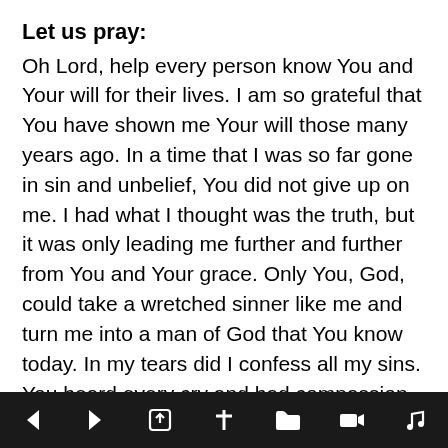Let us pray:
Oh Lord, help every person know You and Your will for their lives. I am so grateful that You have shown me Your will those many years ago. In a time that I was so far gone in sin and unbelief, You did not give up on me. I had what I thought was the truth, but it was only leading me further and further from You and Your grace. Only You, God, could take a wretched sinner like me and turn me into a man of God that You know today. In my tears did I confess all my sins. You heard every cry and had compassion upon my soul. Thank You for washing me in Your blood, Jesus. Your atonement did take place on the cross and means everything to me. To be renewed in the Spirit and to gain a new mind in Christ is what I’ve always needed, but didn’t know I wanted until now. Only You, God, could take me out
← → [share] [cross] [folder] [video] [music]